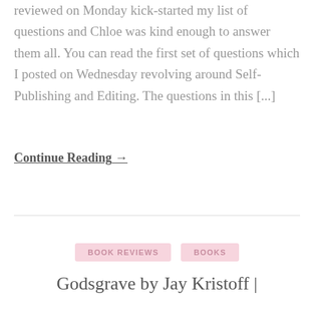reviewed on Monday kick-started my list of questions and Chloe was kind enough to answer them all. You can read the first set of questions which I posted on Wednesday revolving around Self-Publishing and Editing. The questions in this [...]
Continue Reading →
BOOK REVIEWS   BOOKS
Godsgrave by Jay Kristoff |